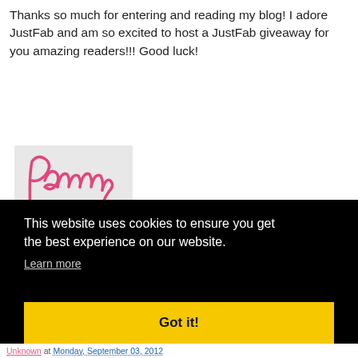Thanks so much for entering and reading my blog! I adore JustFab and am so excited to host a JustFab giveaway for you amazing readers!!! Good luck!
[Figure (illustration): Handwritten signature reading 'Pammy' in pink cursive on a light gray/white background]
[Figure (illustration): Small badge/stamp image reading 'I got a sample' in handwritten-style text with a rectangular border]
Prize fulfillment is through
This website uses cookies to ensure you get the best experience on our website.
Learn more
Got it!
Unknown at Monday, September 03, 2012